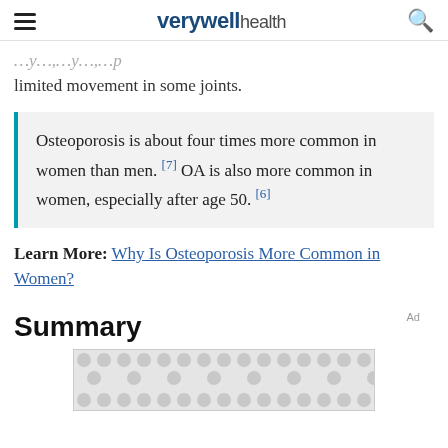verywell health
limited movement in some joints.
Osteoporosis is about four times more common in women than men.[7] OA is also more common in women, especially after age 50.[6]
Learn More: Why Is Osteoporosis More Common in Women?
Summary
[Figure (other): Advertisement placeholder image with repeating dot/blob pattern in gray]